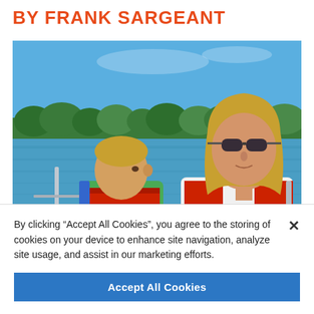BY FRANK SARGEANT
[Figure (photo): A woman wearing sunglasses and a red life vest sits on a boat with a young boy also wearing a red and green life vest. They are on a lake with trees in the background and blue sky above.]
By clicking “Accept All Cookies”, you agree to the storing of cookies on your device to enhance site navigation, analyze site usage, and assist in our marketing efforts.
Accept All Cookies